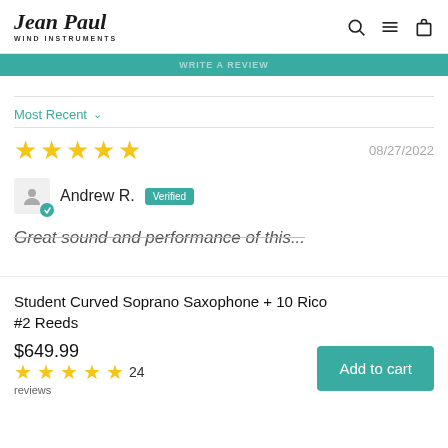Jean Paul Wind Instruments
[Figure (other): Teal promotional banner with partially visible white text]
Most Recent ∨
★★★★★  08/27/2022
Andrew R.  Verified
Great sound and performance of this...
Student Curved Soprano Saxophone + 10 Rico #2 Reeds
$649.99  ★★★★★ 24 reviews  Add to cart